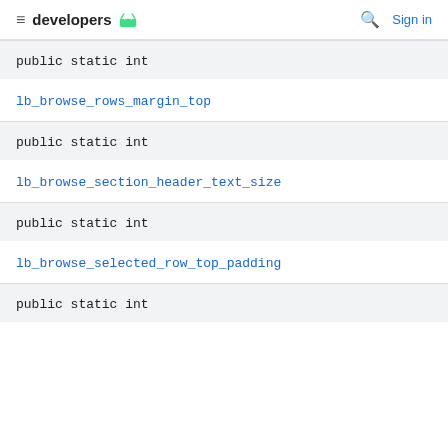developers | Sign in
public static int
lb_browse_rows_margin_top
public static int
lb_browse_section_header_text_size
public static int
lb_browse_selected_row_top_padding
public static int